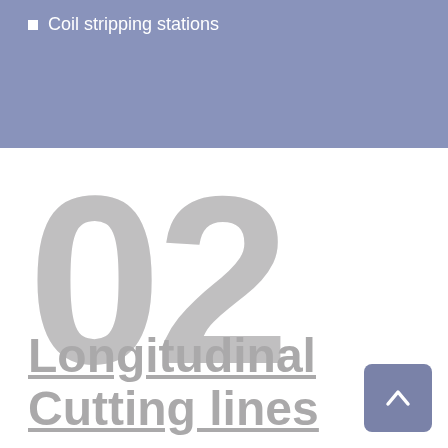Coil stripping stations
02
Longitudinal Cutting lines